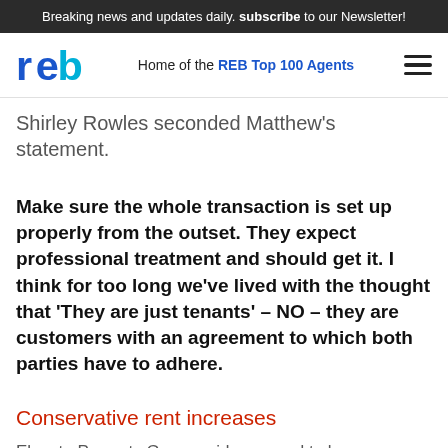Breaking news and updates daily. subscribe to our Newsletter!
reb — Home of the REB Top 100 Agents
Shirley Rowles seconded Matthew's statement.
Make sure the whole transaction is set up properly from the outset. They expect professional treatment and should get it. I think for too long we've lived with the thought that 'They are just tenants' – NO – they are customers with an agreement to which both parties have to adhere.
Conservative rent increases
Elevate Property Group said you need to be